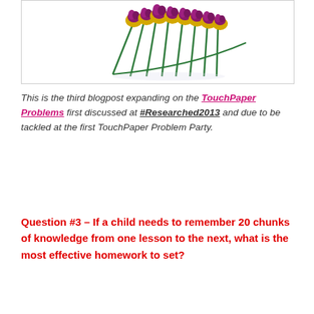[Figure (photo): A cluster of paper/craft roses with purple-pink petals, yellow bases, and green stems arranged on a white background.]
This is the third blogpost expanding on the TouchPaper Problems first discussed at #Researched2013 and due to be tackled at the first TouchPaper Problem Party.
Question #3 – If a child needs to remember 20 chunks of knowledge from one lesson to the next, what is the most effective homework to set?